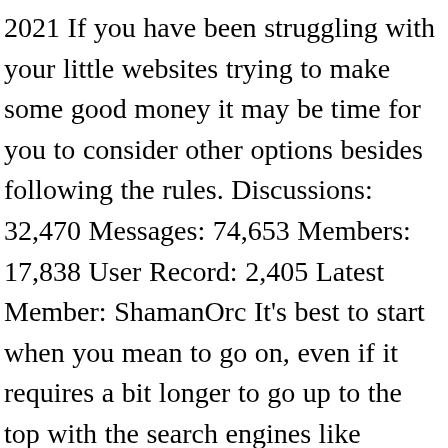2021 If you have been struggling with your little websites trying to make some good money it may be time for you to consider other options besides following the rules. Discussions: 32,470 Messages: 74,653 Members: 17,838 User Record: 2,405 Latest Member: ShamanOrc It's best to start when you mean to go on, even if it requires a bit longer to go up to the top with the search engines like google. We all know there are many Forum like quora, StackOverflow on the internet, but there are few hacker forums where we can discuss